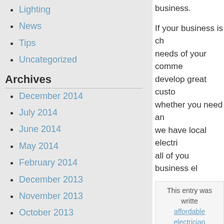Lighting
News
Tips
Uncategorized
Archives
December 2014
July 2014
June 2014
May 2014
February 2014
December 2013
November 2013
October 2013
September 2013
August 2013
December 2012
business.
If your business is ch... needs of your comme... develop great custo... whether you need an... we have local electri... all of you business el...
This entry was writte... affordable electrician... contractor phoenix... arizona, residential ele... feed...
« When Will You Fi...